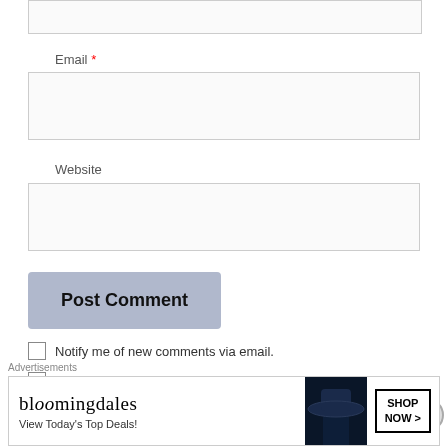[Figure (screenshot): Partial text input box at top of page (truncated form field)]
Email *
[Figure (screenshot): Email text input field (empty)]
Website
[Figure (screenshot): Website text input field (empty)]
[Figure (screenshot): Post Comment button]
Notify me of new comments via email.
Notify me of new posts via email.
This site uses Akismet to reduce spam. Learn
Advertisements
[Figure (infographic): Bloomingdale's advertisement banner: 'bloomingdales - View Today's Top Deals! SHOP NOW >']